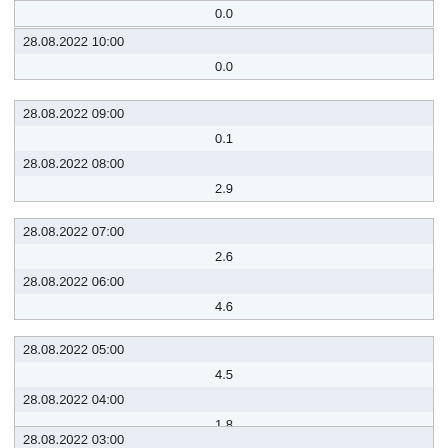| 0.0 |
| 28.08.2022 10:00 |
| 0.0 |
| 28.08.2022 09:00 |
| 0.1 |
| 28.08.2022 08:00 |
| 2.9 |
| 28.08.2022 07:00 |
| 2.6 |
| 28.08.2022 06:00 |
| 4.6 |
| 28.08.2022 05:00 |
| 4.5 |
| 28.08.2022 04:00 |
| 1.8 |
| 28.08.2022 03:00 |